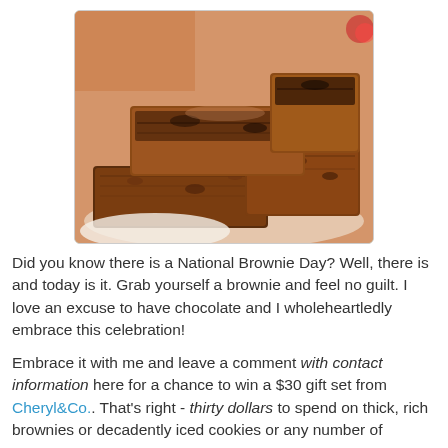[Figure (photo): A stack of chocolate brownies on a white plate, photographed close-up with warm tones.]
Did you know there is a National Brownie Day? Well, there is and today is it. Grab yourself a brownie and feel no guilt. I love an excuse to have chocolate and I wholeheartledly embrace this celebration!
Embrace it with me and leave a comment with contact information here for a chance to win a $30 gift set from Cheryl&Co.. That's right - thirty dollars to spend on thick, rich brownies or decadently iced cookies or any number of